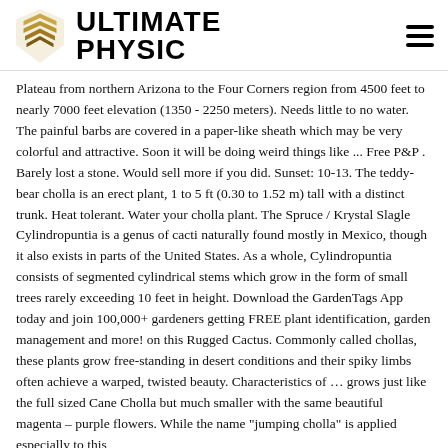ULTIMATE PHYSIC
Plateau from northern Arizona to the Four Corners region from 4500 feet to nearly 7000 feet elevation (1350 - 2250 meters). Needs little to no water. The painful barbs are covered in a paper-like sheath which may be very colorful and attractive. Soon it will be doing weird things like ... Free P&P . Barely lost a stone. Would sell more if you did. Sunset: 10-13. The teddy-bear cholla is an erect plant, 1 to 5 ft (0.30 to 1.52 m) tall with a distinct trunk. Heat tolerant. Water your cholla plant. The Spruce / Krystal Slagle Cylindropuntia is a genus of cacti naturally found mostly in Mexico, though it also exists in parts of the United States. As a whole, Cylindropuntia consists of segmented cylindrical stems which grow in the form of small trees rarely exceeding 10 feet in height. Download the GardenTags App today and join 100,000+ gardeners getting FREE plant identification, garden management and more! on this Rugged Cactus. Commonly called chollas, these plants grow free-standing in desert conditions and their spiky limbs often achieve a warped, twisted beauty. Characteristics of ... grows just like the full sized Cane Cholla but much smaller with the same beautiful magenta – purple flowers. While the name "jumping cholla" is applied especially to this